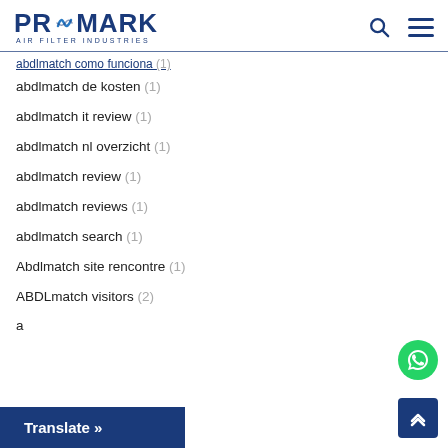PROMARK AIR FILTER INDUSTRIES
abdlmatch de kosten (1)
abdlmatch it review (1)
abdlmatch nl overzicht (1)
abdlmatch review (1)
abdlmatch reviews (1)
abdlmatch search (1)
Abdlmatch site rencontre (1)
ABDLmatch visitors (2)